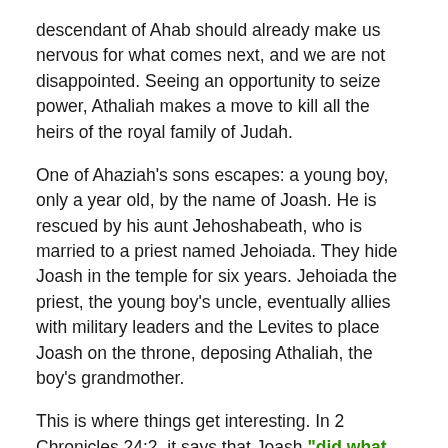descendant of Ahab should already make us nervous for what comes next, and we are not disappointed. Seeing an opportunity to seize power, Athaliah makes a move to kill all the heirs of the royal family of Judah.
One of Ahaziah's sons escapes: a young boy, only a year old, by the name of Joash. He is rescued by his aunt Jehoshabeath, who is married to a priest named Jehoiada. They hide Joash in the temple for six years. Jehoiada the priest, the young boy's uncle, eventually allies with military leaders and the Levites to place Joash on the throne, deposing Athaliah, the boy's grandmother.
This is where things get interesting. In 2 Chronicles 24:2, it says that Joash "did what was right in the eyes of the LORD all the days of Jehoiada the priest." Jehoiada not only hides and protects Joash, he helps place him on the